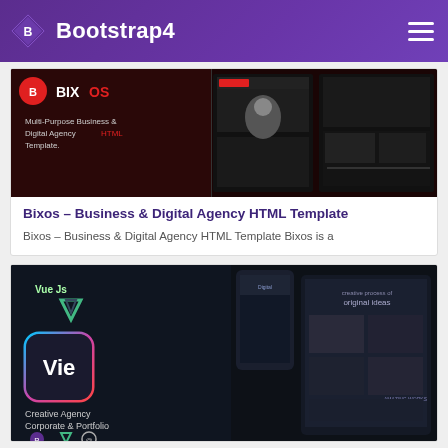Bootstrap4
[Figure (screenshot): Bixos – Business & Digital Agency HTML Template banner image showing dark red/black theme with multiple page layout previews]
Bixos – Business & Digital Agency HTML Template
Bixos – Business & Digital Agency HTML Template Bixos is a
[Figure (screenshot): Vie – Creative Agency Corporate & Portfolio Vue Js template banner with dark theme showing mobile and desktop previews]